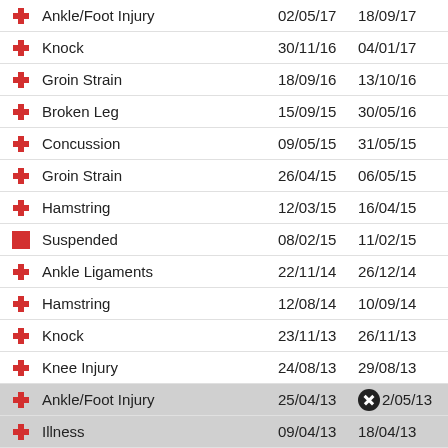| Type | Injury | From | To |
| --- | --- | --- | --- |
| cross | Ankle/Foot Injury | 02/05/17 | 18/09/17 |
| cross | Knock | 30/11/16 | 04/01/17 |
| cross | Groin Strain | 18/09/16 | 13/10/16 |
| cross | Broken Leg | 15/09/15 | 30/05/16 |
| cross | Concussion | 09/05/15 | 31/05/15 |
| cross | Groin Strain | 26/04/15 | 06/05/15 |
| cross | Hamstring | 12/03/15 | 16/04/15 |
| square | Suspended | 08/02/15 | 11/02/15 |
| cross | Ankle Ligaments | 22/11/14 | 26/12/14 |
| cross | Hamstring | 12/08/14 | 10/09/14 |
| cross | Knock | 23/11/13 | 26/11/13 |
| cross | Knee Injury | 24/08/13 | 29/08/13 |
| cross | Ankle/Foot Injury | 25/04/13 | 02/05/13 |
| cross | Illness | 09/04/13 | 18/04/13 |